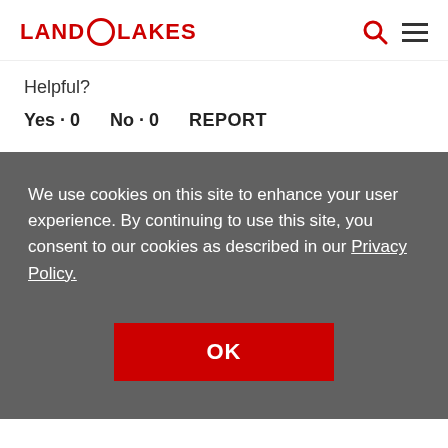LAND O LAKES
Helpful?
Yes · 0    No · 0    REPORT
Response from Land O'Lakes:
· 11 years ago
Yes, you do melt the semi sweet and the unsweetened chocolate...
We use cookies on this site to enhance your user experience. By continuing to use this site, you consent to our cookies as described in our Privacy Policy.
OK